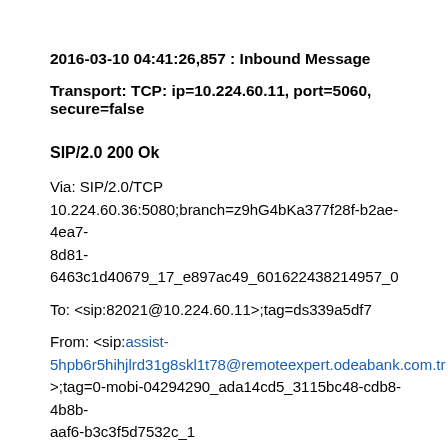2016-03-10 04:41:26,857 : Inbound Message
Transport: TCP: ip=10.224.60.11, port=5060, secure=false
SIP/2.0 200 Ok
Via: SIP/2.0/TCP 10.224.60.36:5080;branch=z9hG4bKa377f28f-b2ae-4ea7-8d81-6463c1d40679_17_e897ac49_601622438214957_0
To: <sip:82021@10.224.60.11>;tag=ds339a5df7
From: <sip:assist-5hpb6r5hihjlrd31g8skl1t78@remoteexpert.odeabank.com.tr>;tag=0-mobi-04294290_ada14cd5_3115bc48-cdb8-4b8b-aaf6-b3c3f5d7532c_1